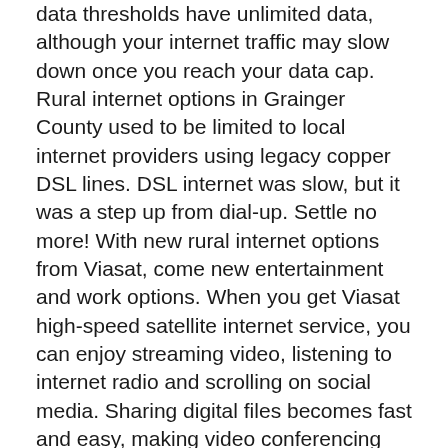data thresholds have unlimited data, although your internet traffic may slow down once you reach your data cap. Rural internet options in Grainger County used to be limited to local internet providers using legacy copper DSL lines. DSL internet was slow, but it was a step up from dial-up. Settle no more! With new rural internet options from Viasat, come new entertainment and work options. When you get Viasat high-speed satellite internet service, you can enjoy streaming video, listening to internet radio and scrolling on social media. Sharing digital files becomes fast and easy, making video conferencing and working from home a new option, too!
Contact us to compare Viasat Internet to HughesNet Internet, Verizon Internet, CenturyLink Internet, AT&T Wireless, Sprint, XFINITY, Comcast Internet, Charter Spectrum Internet, Frontier Internet, Cox Internet, MegaPath, Windstream Internet, Wow Internet, Wave, Cable One Internet, Suddenlink Internet, Mediacom Internet, T-Mobile, DIRECTV Satellite Internet, Dish